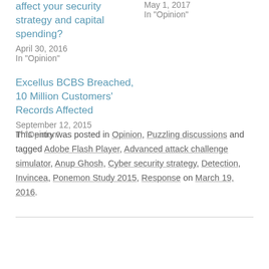affect your security strategy and capital spending?
April 30, 2016
In "Opinion"
May 1, 2017
In "Opinion"
Excellus BCBS Breached, 10 Million Customers' Records Affected
September 12, 2015
In "Opinion"
This entry was posted in Opinion, Puzzling discussions and tagged Adobe Flash Player, Advanced attack challenge simulator, Anup Ghosh, Cyber security strategy, Detection, Invincea, Ponemon Study 2015, Response on March 19, 2016.